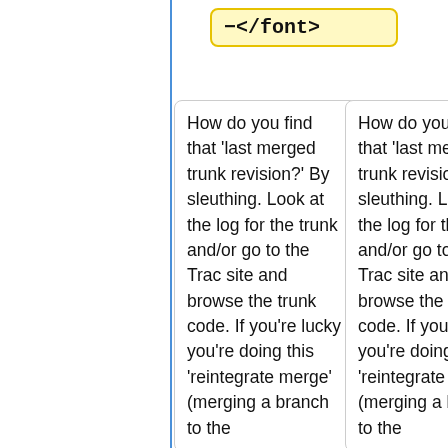</font>
How do you find that 'last merged trunk revision?' By sleuthing. Look at the log for the trunk and/or go to the Trac site and browse the trunk code. If you're lucky you're doing this 'reintegrate merge' (merging a branch to the
How do you find that 'last merged trunk revision?' By sleuthing. Look at the log for the trunk and/or go to the Trac site and browse the trunk code. If you're lucky you're doing this 'reintegrate merge' (merging a branch to the